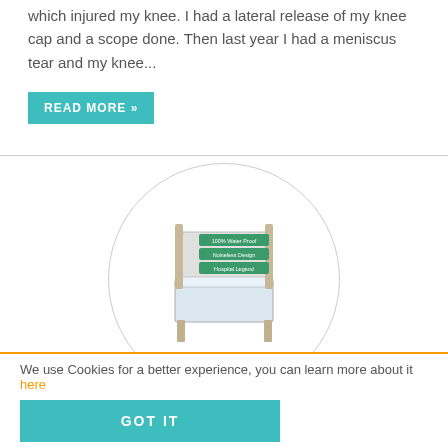which injured my knee. I had a lateral release of my knee cap and a scope done. Then last year I had a meniscus tear and my knee...
READ MORE »
[Figure (photo): Product photo of a mattress/bed with labeled badges: 100% Water Proof, Noiseless Design, Hospital Legend, displayed in a circular frame]
Exactly what it is meant to do.
★★★★★
We use Cookies for a better experience, you can learn more about it here
GOT IT